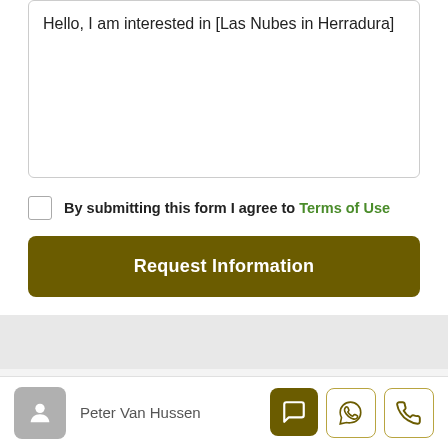Hello, I am interested in [Las Nubes in Herradura]
By submitting this form I agree to Terms of Use
Request Information
0 Review
Sort by: Default Order
Peter Van Hussen